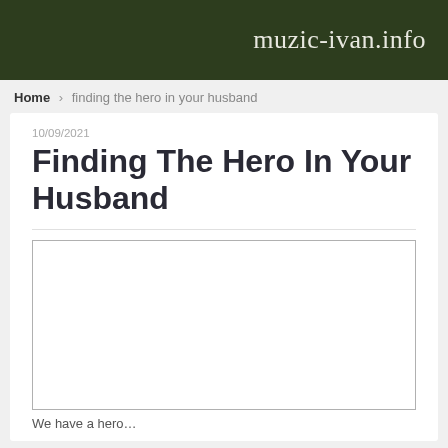muzic-ivan.info
Home › finding the hero in your husband
10/09/2021
Finding The Hero In Your Husband
[Figure (other): Empty white rectangular image placeholder with a thin gray border]
We have a hero…